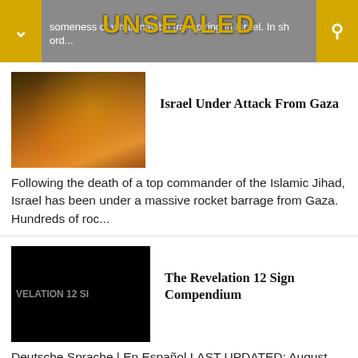UNSEALED — someness of what may be transpiring in Israel. In sh ord...
[Figure (photo): Thumbnail image: dark orange sky with rocket trails or flares over a city at night]
Israel Under Attack From Gaza
Following the death of a top commander of the Islamic Jihad, Israel has been under a massive rocket barrage from Gaza.  Hundreds of roc...
[Figure (photo): Thumbnail image: black background with gray text reading VELATION 12 SI (partial text for Revelation 12 Sign)]
The Revelation 12 Sign Compendium
Deutsche Sprache | En Español LAST UPDATED: August 8th, 2017.  By now you've probably heard about what a number of Christian...
[Figure (photo): Thumbnail image: golden light rays with silhouettes of raised hands]
2017 To 2024 Tribulation Theory